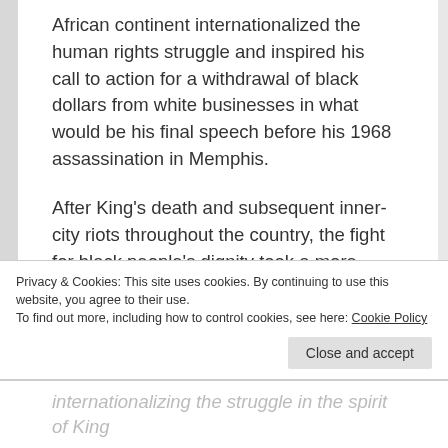African continent internationalized the human rights struggle and inspired his call to action for a withdrawal of black dollars from white businesses in what would be his final speech before his 1968 assassination in Memphis.
After King's death and subsequent inner-city riots throughout the country, the fight for black people's dignity took a more radial turn with the rise of Willie Ricks and Stokeley Carmichael, two proponents of Black Power, the creation of Kwanzaa as an Pan-African holiday, the creation of the Black Panther Party for Self-Defense, and other efforts to foster
Privacy & Cookies: This site uses cookies. By continuing to use this website, you agree to their use.
To find out more, including how to control cookies, see here: Cookie Policy
internationalizing the struggle in the spirit of King